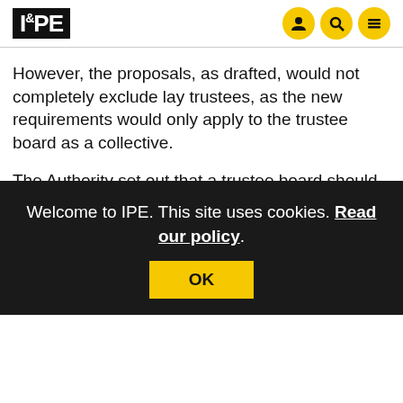IPE
However, the proposals, as drafted, would not completely exclude lay trustees, as the new requirements would only apply to the trustee board as a collective.
The Authority set out that a trustee board should co... tw... ha...
Welcome to IPE. This site uses cookies. Read our policy.
OK
H... applying to a trustee board "on a collective basis" would likely allow for inexperienced lay trustees to join boards with two or more qualified trustees.